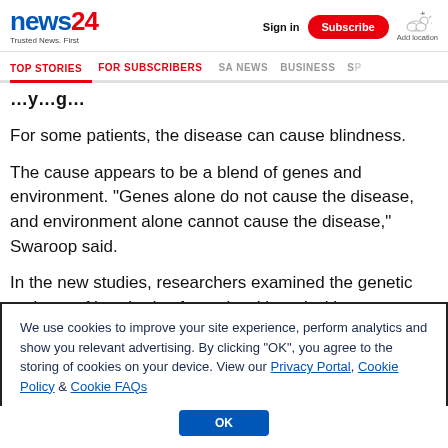news24 — Trusted News. First | Sign in | Subscribe | Add location
TOP STORIES | FOR SUBSCRIBERS | SA NEWS | BUSINESS | SP...
For some patients, the disease can cause blindness.
The cause appears to be a blend of genes and environment. "Genes alone do not cause the disease, and environment alone cannot cause the disease," Swaroop said.
In the new studies, researchers examined the genetic makeup of hundreds of people with and without age-
We use cookies to improve your site experience, perform analytics and show you relevant advertising. By clicking "OK", you agree to the storing of cookies on your device. View our Privacy Portal, Cookie Policy & Cookie FAQs